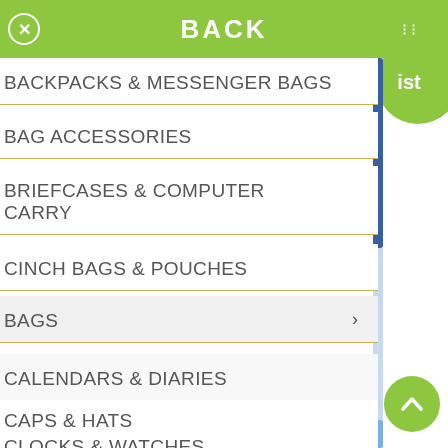BACK
BACKPACKS & MESSENGER BAGS
BAG ACCESSORIES
BRIEFCASES & COMPUTER CARRY
CINCH BAGS & POUCHES
BAGS
CALENDARS & DIARIES
CAPS & HATS
CLOCKS & WATCHES